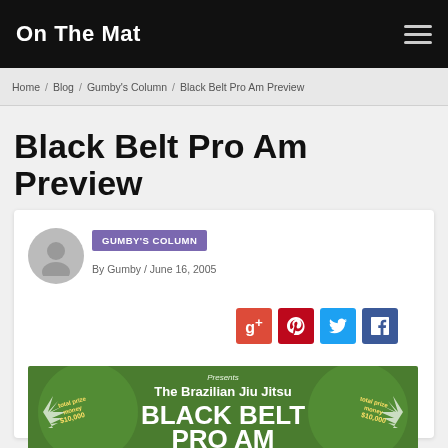On The Mat
Home / Blog / Gumby's Column / Black Belt Pro Am Preview
Black Belt Pro Am Preview
GUMBY'S COLUMN
By Gumby / June 16, 2005
[Figure (screenshot): Social sharing buttons: Google+, Pinterest, Twitter, Facebook]
[Figure (photo): Event banner: The Brazilian Jiu Jitsu BLACK BELT PRO AM, with total prize money graphics and green/white design]